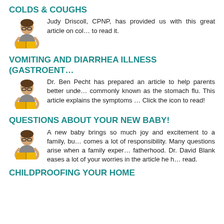COLDS & COUGHS
[Figure (illustration): Child reading a book with glasses]
Judy Driscoll, CPNP, has provided us with this great article on colds & coughs. Click the icon to read it.
VOMITING AND DIARRHEA ILLNESS (GASTROENT…
[Figure (illustration): Child reading a book with glasses]
Dr. Ben Pecht has prepared an article to help parents better understand gastroenteritis, commonly known as the stomach flu. This article explains the symptoms and treatment. Click the icon to read!
QUESTIONS ABOUT YOUR NEW BABY!
[Figure (illustration): Child reading a book with glasses]
A new baby brings so much joy and excitement to a family, but along with that comes a lot of responsibility. Many questions arise when a family experiences new fatherhood. Dr. David Blank eases a lot of your worries in the article he has written. Click to read.
CHILDPROOFING YOUR HOME